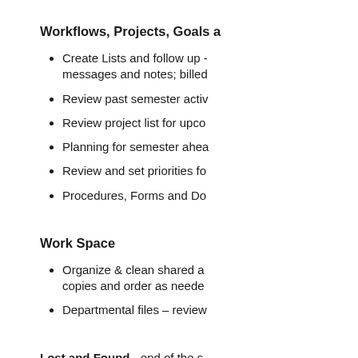Workflows, Projects, Goals a...
Create Lists and follow up - messages and notes; billed...
Review past semester activ...
Review project list for upco...
Planning for semester ahea...
Review and set priorities fo...
Procedures, Forms and Do...
Work Space
Organize & clean shared a... copies and order as neede...
Departmental files – review...
Lost and Found - end of the s...